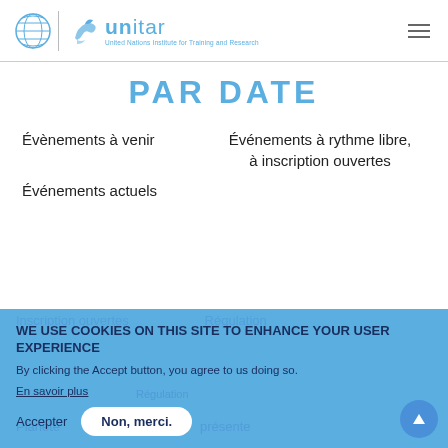UNITAR — United Nations Institute for Training and Research
PAR DATE
Évènements à venir
Événements à rythme libre, à inscription ouvertes
Événements actuels
WE USE COOKIES ON THIS SITE TO ENHANCE YOUR USER EXPERIENCE
By clicking the Accept button, you agree to us doing so.
En savoir plus
Accepter
Non, merci.